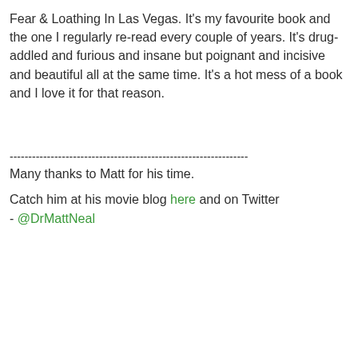Fear & Loathing In Las Vegas. It's my favourite book and the one I regularly re-read every couple of years. It's drug-addled and furious and insane but poignant and incisive and beautiful all at the same time. It's a hot mess of a book and I love it for that reason.
----------------------------------------------------------------
Many thanks to Matt for his time.
Catch him at his movie blog here and on Twitter - @DrMattNeal